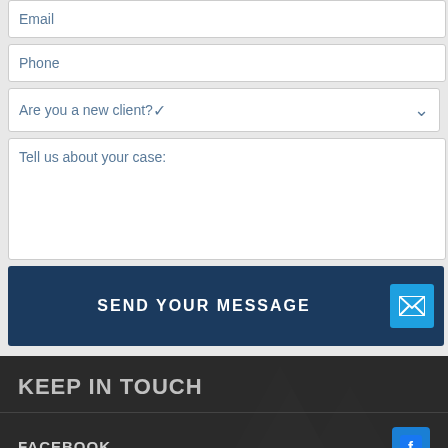Email
Phone
Are you a new client?
Tell us about your case:
SEND YOUR MESSAGE
KEEP IN TOUCH
FACEBOOK
GOOGLE MY BUSINESS
LINKEDIN